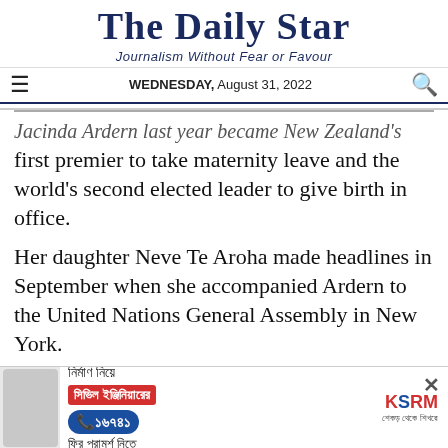The Daily Star
Journalism Without Fear or Favour
WEDNESDAY, August 31, 2022
Jacinda Ardern last year became New Zealand's first premier to take maternity leave and the world's second elected leader to give birth in office.
Her daughter Neve Te Aroha made headlines in September when she accompanied Ardern to the United Nations General Assembly in New York.
But worker rights advocates told Reuters that few
[Figure (infographic): Advertisement banner: KSRM construction company ad in Bengali text reading 'নির্মাণ নিয়ে সিভিল ইঞ্জিনিয়ারের ফ্রি পরামর্শ নিতে' with phone number ১৬৭৪১ and KSRM brand logo]